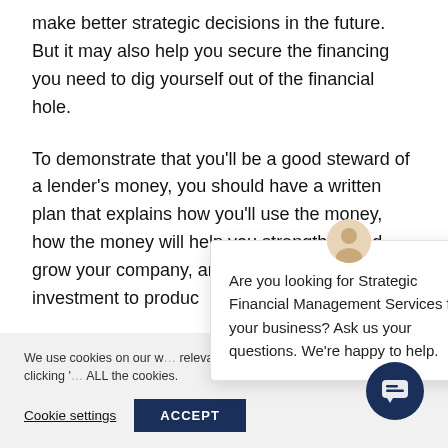make better strategic decisions in the future. But it may also help you secure the financing you need to dig yourself out of the financial hole.
To demonstrate that you'll be a good steward of a lender's money, you should have a written plan that explains how you'll use the money, how the money will help you strengthen and grow your company, and how you'll use the investment to produc…
[Figure (screenshot): Chat popup overlay with avatar, close button (×), and text: 'Are you looking for Strategic Financial Management Services for your business? Ask us your questions. We're happy to help.']
We use cookies on our w… relevant experience by re… repeat visits. By clicking '… ALL the cookies.
Cookie settings  ACCEPT